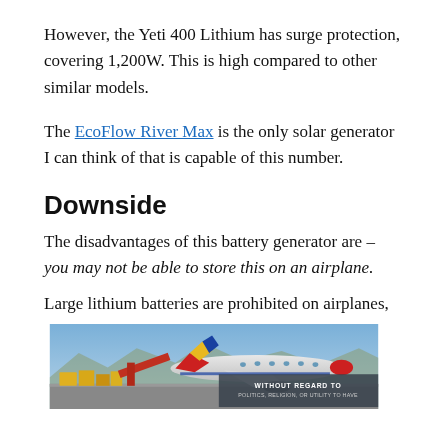However, the Yeti 400 Lithium has surge protection, covering 1,200W. This is high compared to other similar models.
The EcoFlow River Max is the only solar generator I can think of that is capable of this number.
Downside
The disadvantages of this battery generator are – you may not be able to store this on an airplane.
Large lithium batteries are prohibited on airplanes,
[Figure (photo): Photo of cargo being loaded onto a Southwest Airlines airplane on the tarmac, with an overlaid advertisement banner reading 'WITHOUT REGARD TO POLITICS, RELIGION, OR UTILITY TO HAVE']